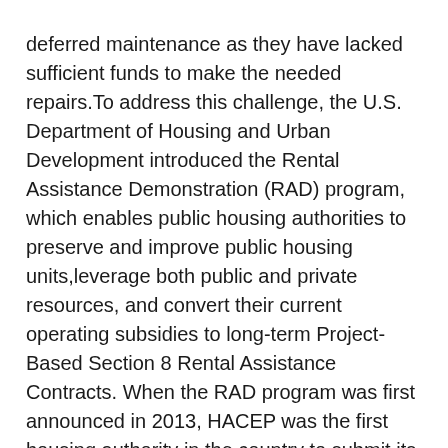deferred maintenance as they have lacked sufficient funds to make the needed repairs.To address this challenge, the U.S. Department of Housing and Urban Development introduced the Rental Assistance Demonstration (RAD) program, which enables public housing authorities to preserve and improve public housing units,leverage both public and private resources, and convert their current operating subsidies to long-term Project-Based Section 8 Rental Assistance Contracts. When the RAD program was first announced in 2013, HACEP was the first housing authority in the country to submit its entire portfolio (consisting of 6,100units), and upon approval, its allocation represented 10 percent of the initial 60,000 units approved under RAD.
RAD I is the first phase of the revitalization of HACEP's public housing portfolio.The total cost of the initiative